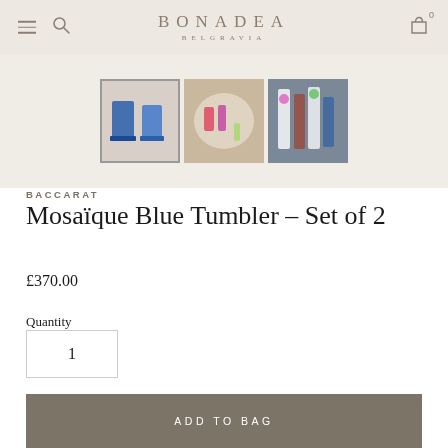BONADEA BELGRAVIA
[Figure (photo): Three product thumbnails: first shows two blue tumblers (selected/highlighted), second shows colorful glassware on a table setting, third shows tall glasses with floral decoration]
BACCARAT
Mosaïque Blue Tumbler - Set of 2
£370.00
Quantity
1
ADD TO BAG